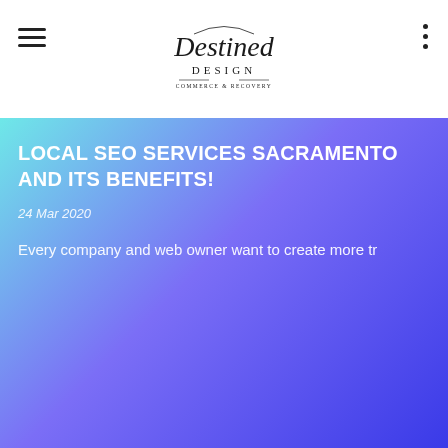[Figure (logo): Destined Design logo with cursive and serif text, appears at top center of page header]
LOCAL SEO SERVICES SACRAMENTO AND ITS BENEFITS!
24 Mar 2020
Every company and web owner want to create more tr